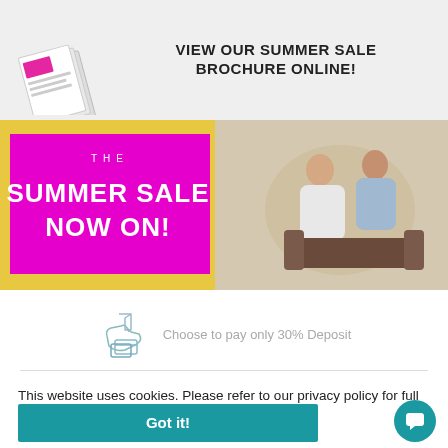[Figure (screenshot): Top banner with brochure image on left and text 'VIEW OUR SUMMER SALE BROCHURE ONLINE!' on right, on a light grey background]
[Figure (screenshot): Summer sale promotional banner with magenta overlay reading 'THE SUMMER SALE NOW ON!' on left, and a photo of a couple on a sofa on the right]
Choose to pay only 30% Deposit
This website uses cookies. Please refer to our privacy policy for full details. Learn more
Got it!